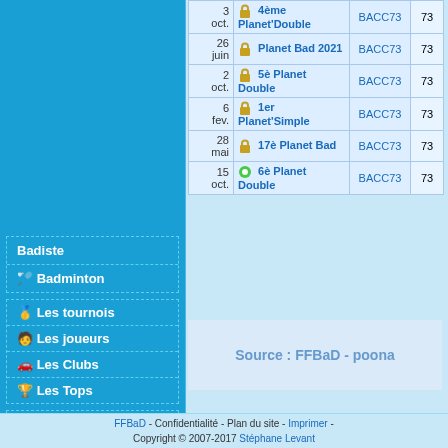Badiste
Badminton
Les tournois
Les joueurs
Les Clubs
Les Tops
Forum
Chercher...
S'identifier
S'inscrire
| Date | Tournoi | Club | Num |
| --- | --- | --- | --- |
| 3 oct. | 🔒 4ème Planet'Double | BACC73 | 73 |
| 26 juin | 🔒 Planet Bad 2021 | BACC73 | 73 |
| 2 oct. | 🔒 5è Planet Double | BACC73 | 73 |
| 6 fev. | 🔒 1er Planet'Simple | BACC73 | 73 |
| 28 mai | 🔒 17è Planet Bad | BACC73 | 73 |
| 15 oct. | 🟢 6è Planet Double | BACC73 | 73 |
Source : FFBaD - poona
FFBaD - Confidentialité - Plan du site - Imprimer - Copyright © 2007-2017 Stéphane Levant